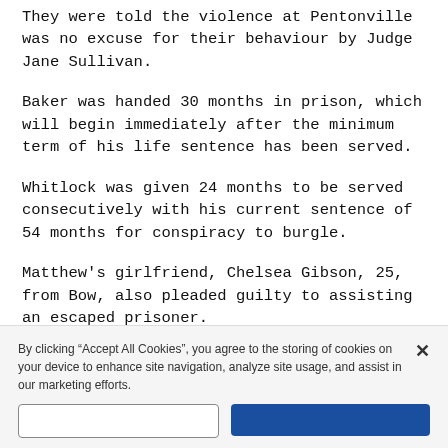They were told the violence at Pentonville was no excuse for their behaviour by Judge Jane Sullivan.
Baker was handed 30 months in prison, which will begin immediately after the minimum term of his life sentence has been served.
Whitlock was given 24 months to be served consecutively with his current sentence of 54 months for conspiracy to burgle.
Matthew's girlfriend, Chelsea Gibson, 25, from Bow, also pleaded guilty to assisting an escaped prisoner.
Both women will be sentenced at Blackfriars Crown Court on Monday, 3 July.
By clicking “Accept All Cookies”, you agree to the storing of cookies on your device to enhance site navigation, analyze site usage, and assist in our marketing efforts.